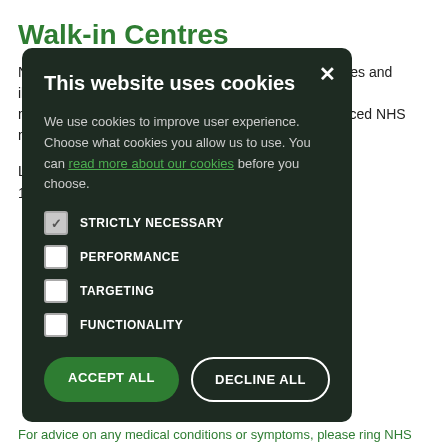Walk-in Centres
NHS walk-in centres provide treatment for minor injuries and illnesses need an appointment and will be seen by an experienced NHS nurse
Luton NHS Walk-in Centre
14-16 Chapel Street
This website uses cookies
We use cookies to improve user experience. Choose what cookies you allow us to use. You can read more about our cookies before you choose.
STRICTLY NECESSARY
PERFORMANCE
TARGETING
FUNCTIONALITY
ACCEPT ALL
DECLINE ALL
For advice on any medical conditions or symptoms, please ring NHS